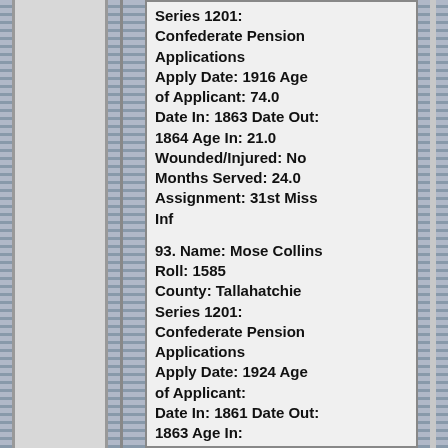Series 1201: Confederate Pension Applications Apply Date: 1916 Age of Applicant: 74.0 Date In: 1863 Date Out: 1864 Age In: 21.0 Wounded/Injured: No Months Served: 24.0 Assignment: 31st Miss Inf
93. Name: Mose Collins Roll: 1585 County: Tallahatchie Series 1201: Confederate Pension Applications Apply Date: 1924 Age of Applicant: Date In: 1861 Date Out: 1863 Age In: Wounded/Injured: N/A Months Served: 24.0 Assignment: L, 1st Miss Lt Arty
94. Name: Willis Collins